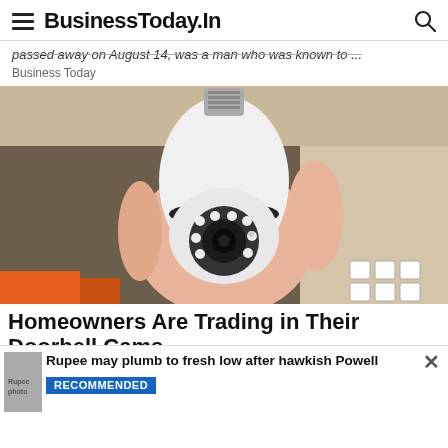BusinessToday.In
passed away on August 14, was a man who was known to ...
Business Today
[Figure (photo): A hand holding a white security camera shaped like a light bulb with a screw base, showing camera lens surrounded by LED lights, against a wooden shelf background.]
Homeowners Are Trading in Their Doorbell Cams
Rupee may plumb to fresh low after hawkish Powell
RECOMMENDED